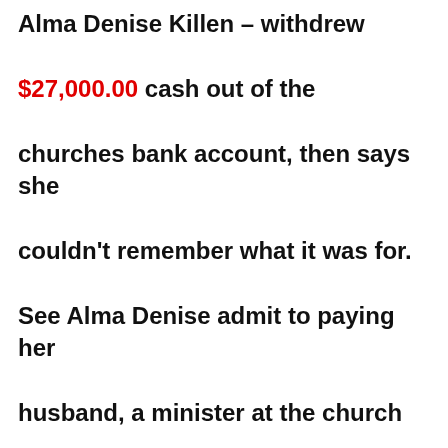Alma Denise Killen – withdrew $27,000.00 cash out of the churches bank account, then says she couldn't remember what it was for. See Alma Denise admit to paying her husband, a minister at the church Stewie Killen $1000.00 for preaching one Sunday. Can you say Nepotism!!